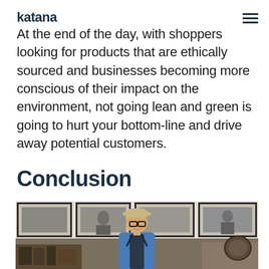katana
At the end of the day, with shoppers looking for products that are ethically sourced and businesses becoming more conscious of their impact on the environment, not going lean and green is going to hurt your bottom-line and drive away potential customers.
Conclusion
[Figure (photo): A smiling man wearing glasses and a flat cap, dressed in a blue checkered shirt with a dark apron, standing in front of a wall decorated with black-and-white framed photographs. Workshop or artisan shop environment visible in the foreground.]